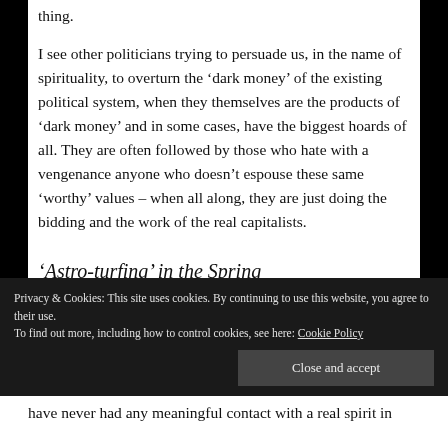thing.
I see other politicians trying to persuade us, in the name of spirituality, to overturn the ‘dark money’ of the existing political system, when they themselves are the products of ‘dark money’ and in some cases, have the biggest hoards of all. They are often followed by those who hate with a vengenance anyone who doesn’t espouse these same ‘worthy’ values – when all along, they are just doing the bidding and the work of the real capitalists.
‘Astro-turfing’ in the Spring
Privacy & Cookies: This site uses cookies. By continuing to use this website, you agree to their use.
To find out more, including how to control cookies, see here: Cookie Policy
have never had any meaningful contact with a real spirit in